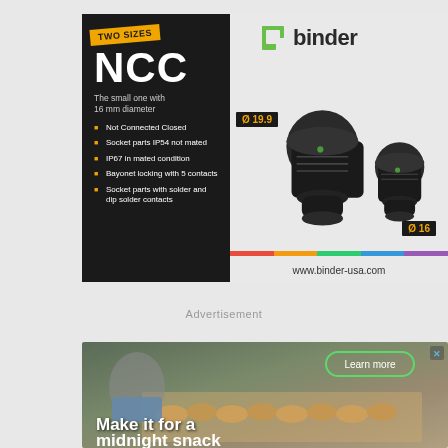[Figure (infographic): Binder NCC connector advertisement showing two black cylindrical connectors in two sizes (Ø 19.9 and Ø 16), with bullet points listing features: Not Connected Closed, Socket parts IP54 not mated, IP67 in mated condition, Bayonet locking with 5 contacts, Socket parts with solder and dip solder contacts. Left black panel has 'TWO SIZES' banner and NCC title. Right panel shows product photo with binder logo and www.binder-usa.com.]
Advertisement
[Figure (photo): Food advertisement showing a person with blue gloves arranging baked goods on a tray, with 'Learn more' button and headline 'Make it for a midnight snack']